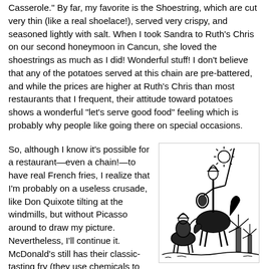Casserole." By far, my favorite is the Shoestring, which are cut very thin (like a real shoelace!), served very crispy, and seasoned lightly with salt. When I took Sandra to Ruth's Chris on our second honeymoon in Cancun, she loved the shoestrings as much as I did! Wonderful stuff! I don't believe that any of the potatoes served at this chain are pre-battered, and while the prices are higher at Ruth's Chris than most restaurants that I frequent, their attitude toward potatoes shows a wonderful "let's serve good food" feeling which is probably why people like going there on special occasions.
So, although I know it's possible for a restaurant—even a chain!—to have real French fries, I realize that I'm probably on a useless crusade, like Don Quixote tilting at the windmills, but without Picasso around to draw my picture. Nevertheless, I'll continue it. McDonald's still has their classic-tasting fry (they use chemicals to get the near classic taste, but at least they
[Figure (illustration): Black and white line drawing of Don Quixote on horseback with a lance, accompanied by Sancho Panza, with a sun and windmills in the background, in Picasso's style.]